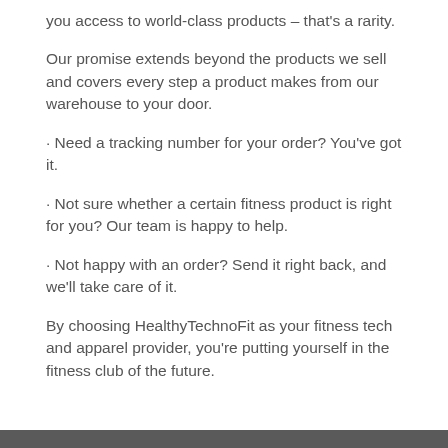you access to world-class products – that's a rarity.
Our promise extends beyond the products we sell and covers every step a product makes from our warehouse to your door.
• Need a tracking number for your order? You've got it.
• Not sure whether a certain fitness product is right for you? Our team is happy to help.
• Not happy with an order? Send it right back, and we'll take care of it.
By choosing HealthyTechnoFit as your fitness tech and apparel provider, you're putting yourself in the fitness club of the future.